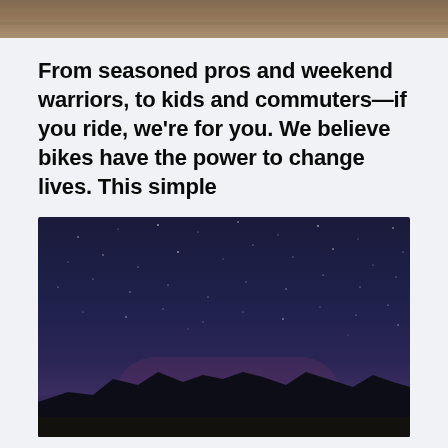[Figure (photo): Partial photo at top of page, cropped — only the bottom strip visible, appearing to show an outdoor scene with brown/tan tones]
From seasoned pros and weekend warriors, to kids and commuters—if you ride, we're for you. We believe bikes have the power to change lives. This simple
[Figure (photo): Night sky photo showing a dark deep blue/purple starry sky with a silhouette of mountains or hills along the bottom horizon]